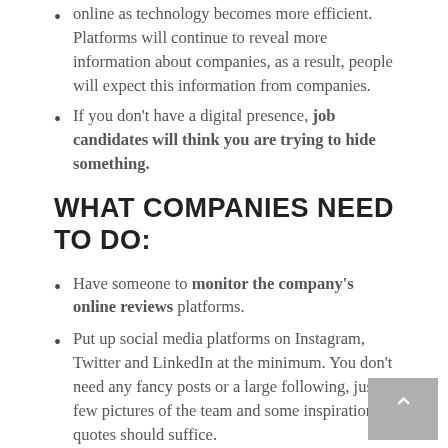online as technology becomes more efficient. Platforms will continue to reveal more information about companies, as a result, people will expect this information from companies.
If you don't have a digital presence, job candidates will think you are trying to hide something.
WHAT COMPANIES NEED TO DO:
Have someone to monitor the company's online reviews platforms.
Put up social media platforms on Instagram, Twitter and LinkedIn at the minimum. You don't need any fancy posts or a large following, just a few pictures of the team and some inspirational quotes should suffice.
MINDSET #3: PEOPLE VALUE AUTHENTICITY OVER PROFESSIONALISM